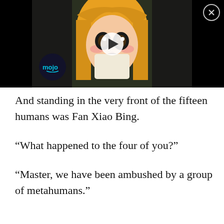[Figure (screenshot): Video thumbnail showing anime character with blonde hair and shocked expression, with a play button overlay and 'mojo' logo badge. Close (X) button in top right corner.]
And standing in the very front of the fifteen humans was Fan Xiao Bing.
“What happened to the four of you?”
“Master, we have been ambushed by a group of metahumans.”